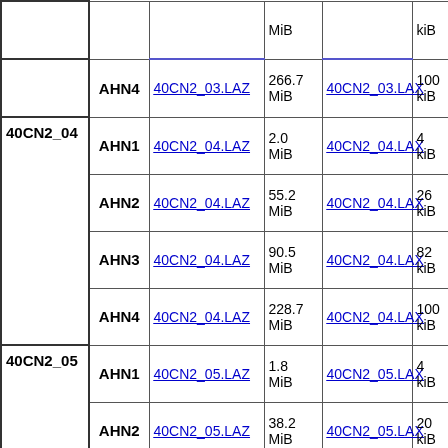| Tile | AHN | LAZ file | Size | LAX file | Size | ... |
| --- | --- | --- | --- | --- | --- | --- |
|  |  |  | MiB |  | kiB |  |
|  | AHN4 | 40CN2_03.LAZ | 266.7 MiB | 40CN2_03.LAX | 100 kiB |  |
| 40CN2_04 | AHN1 | 40CN2_04.LAZ | 2.0 MiB | 40CN2_04.LAX | 4 kiB |  |
|  | AHN2 | 40CN2_04.LAZ | 55.2 MiB | 40CN2_04.LAX | 26 kiB |  |
|  | AHN3 | 40CN2_04.LAZ | 90.5 MiB | 40CN2_04.LAX | 82 kiB |  |
|  | AHN4 | 40CN2_04.LAZ | 228.7 MiB | 40CN2_04.LAX | 100 kiB |  |
| 40CN2_05 | AHN1 | 40CN2_05.LAZ | 1.8 MiB | 40CN2_05.LAX | 4 kiB |  |
|  | AHN2 | 40CN2_05.LAZ | 38.2 MiB | 40CN2_05.LAX | 20 kiB |  |
|  | AHN3 | 40CN2_05.LAZ | 69.3 MiB | 40CN2_05.LAX | 72 kiB |  |
|  | AHN4 | 40CN2_05.LAZ | 239.8 MiB | 40CN2_05.LAX | 100 kiB |  |
| 40CN2_06 |  |  | 2.1 |  | 4 |  |